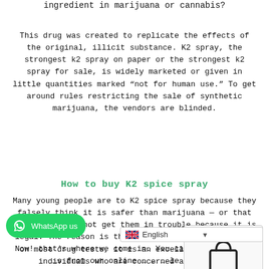ingredient in marijuana or cannabis?
This drug was created to replicate the effects of the original, illicit substance. K2 spray, the strongest k2 spray on paper or the strongest k2 spray for sale, is widely marketed or given in little quantities marked “not for human use.” To get around rules restricting the sale of synthetic marijuana, the vendors are blinded.
How to buy K2 spice spray
Many young people are to K2 spice spray because they falsely think it is safer than marijuana — or that using it would not get them in trouble because it is legal. The reason is that k2 spice does not show up on most drug tests, it is an excellent option for individuals who are concerned about being
Now! that’s where we come in. You can buy this pro… …s from our online … … … le prices.
[Figure (illustration): Shopping bag icon in a white rounded box overlay]
[Figure (screenshot): WhatsApp us button with green background and phone icon]
[Figure (screenshot): English language selector dropdown with UK flag]